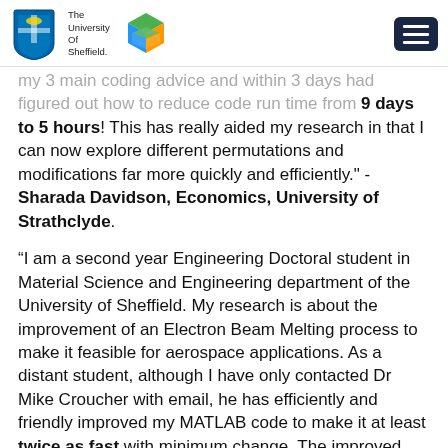The University Of Sheffield. [logo] [menu button]
my 3 main coding advice and within 3 days had figured out how to reduce code run time from 9 days to 5 hours! This has really aided my research in that I can now explore different permutations and modifications far more quickly and efficiently." - Sharada Davidson, Economics, University of Strathclyde.
“I am a second year Engineering Doctoral student in Material Science and Engineering department of the University of Sheffield. My research is about the improvement of an Electron Beam Melting process to make it feasible for aerospace applications. As a distant student, although I have only contacted Dr Mike Croucher with email, he has efficiently and friendly improved my MATLAB code to make it at least twice as fast with minimum change. The improved code is stated with very clear justification, and is very easy to understand. I am very appreciative of the help from him, and